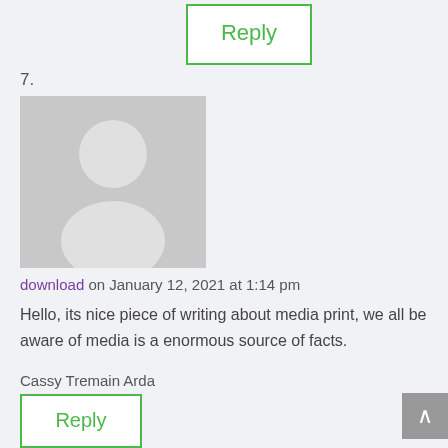Reply button (top, partial)
7.
[Figure (illustration): Generic grey avatar silhouette placeholder image for comment 7]
download on January 12, 2021 at 1:14 pm
Hello, its nice piece of writing about media print, we all be aware of media is a enormous source of facts.
Cassy Tremain Arda
Reply
8.
[Figure (illustration): Generic grey avatar silhouette placeholder image for comment 8]
full hd tek parça izle on January 17, 2021 at 3:53 pm
I regard something really special in this web site.